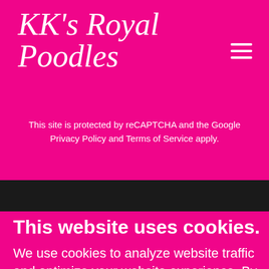KK's Royal Poodles
This site is protected by reCAPTCHA and the Google Privacy Policy and Terms of Service apply.
This website uses cookies.
We use cookies to analyze website traffic and optimize your website experience. By